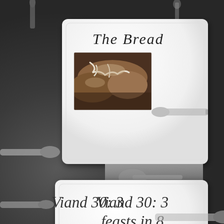[Figure (photo): Dark textured background with table setting including plates, silverware (knives, spoons, forks) arranged vertically. Two white square plates displayed: the top plate shows the title 'The Bread' with a photo of artisan bread loaves with white icing/glaze. The bottom plate shows the text 'Viand 30: 3 feasts in 8 days...' in large italic serif font. Decorative silverware is visible around the plates against the dark background.]